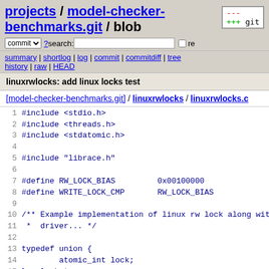projects / model-checker-benchmarks.git / blob
commit ? search: re
summary | shortlog | log | commit | commitdiff | tree
history | raw | HEAD
linuxrwlocks: add linux locks test
[model-checker-benchmarks.git] / linuxrwlocks / linuxrwlocks.c
[Figure (screenshot): Source code viewer showing linuxrwlocks.c file lines 1-19]
1  #include <stdio.h>
2  #include <threads.h>
3  #include <stdatomic.h>
4
5  #include "librace.h"
6
7  #define RW_LOCK_BIAS         0x00100000
8  #define WRITE_LOCK_CMP       RW_LOCK_BIAS
9
10 /** Example implementation of linux rw lock along with
11  *  driver... */
12
13 typedef union {
14          atomic_int lock;
15 } rwlock_t;
16
17 static inline int read_can_lock(rwlock_t *lock)
18 {
19      return atomic_load_explicit(&lock->lock, memor